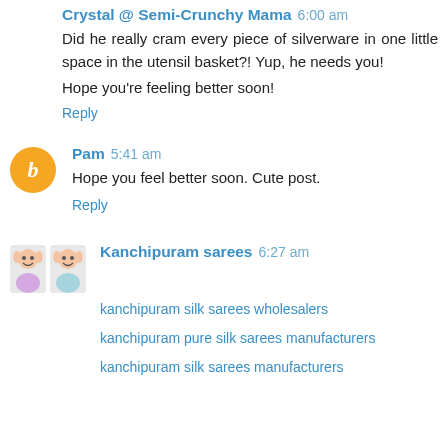Crystal @ Semi-Crunchy Mama 6:00 am
Did he really cram every piece of silverware in one little space in the utensil basket?! Yup, he needs you!
Hope you're feeling better soon!
Reply
Pam 5:41 am
Hope you feel better soon. Cute post.
Reply
Kanchipuram sarees 6:27 am
kanchipuram silk sarees wholesalers
kanchipuram pure silk sarees manufacturers
kanchipuram silk sarees manufacturers